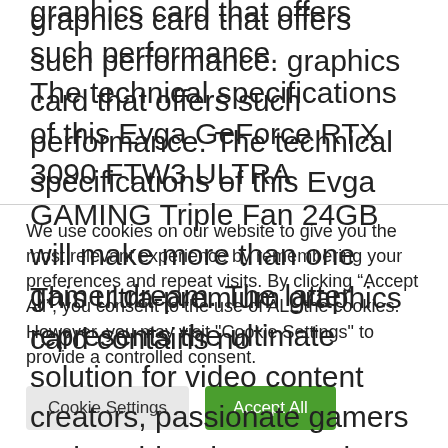graphics card that offers such performance. The technical specifications of this Evga GeForce RTX 3090 FTW3 ULTRA GAMING Triple Fan 24GB will make more than one gamer dream. The latter represents the ultimate solution for video content creators, passionate gamers and enables them to enjoy a unique visual experience.
This ultra-premium graphics card contains no
We use cookies on our website to give you the most relevant experience by remembering your preferences and repeat visits. By clicking “Accept All”, you consent to the use of ALL the cookies. However, you may visit "Cookie Settings" to provide a controlled consent.